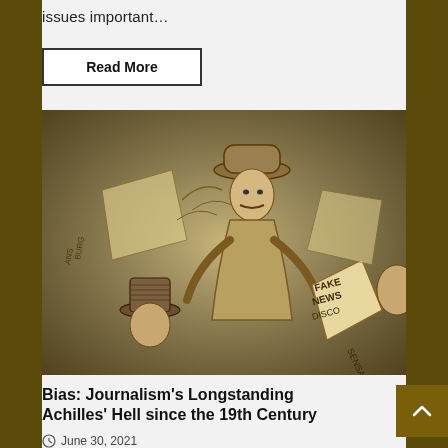issues important…
Read More
[Figure (illustration): Vintage pen-and-ink style cartoon/caricature illustration showing figures holding newspapers with text including 'FAKE NEWS', 'SENSATION', and other partially visible words. The sepia-toned sketch depicts journalists or newspaper figures in 19th-century attire including top hats.]
Bias: Journalism's Longstanding Achilles' Hell since the 19th Century
June 30, 2021